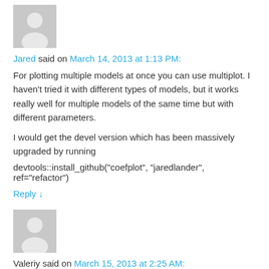[Figure (illustration): Gray placeholder avatar silhouette for user Jared]
Jared said on March 14, 2013 at 1:13 PM:
For plotting multiple models at once you can use multiplot. I haven't tried it with different types of models, but it works really well for multiple models of the same time but with different parameters.
I would get the devel version which has been massively upgraded by running
devtools::install_github("coefplot", "jaredlander", ref="refactor")
Reply ↓
[Figure (illustration): Gray placeholder avatar silhouette for user Valeriy]
Valeriy said on March 15, 2013 at 2:25 AM: